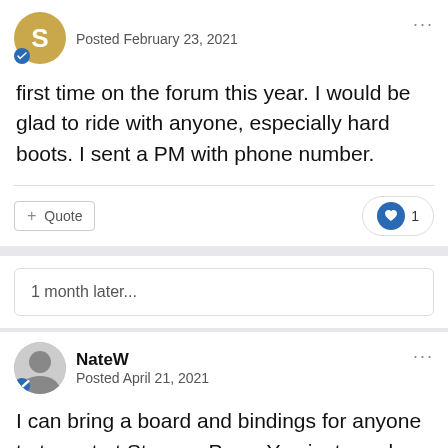Posted February 23, 2021
first time on the forum this year. I would be glad to ride with anyone, especially hard boots. I sent a PM with phone number.
+ Quote  ❤ 1
1 month later...
NateW
Posted April 21, 2021
I can bring a board and bindings for anyone to try out at Stevens Pass. You just need boots with Intec heels.